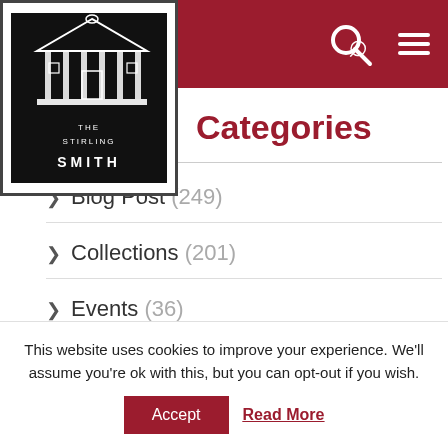The Stirling Smith — Categories page header with logo, search and menu icons
Categories
> Blog Post (249)
> Collections (201)
> Events (36)
> Exhibitions (64)
> Intern Reports (3)
> Intern Reports (1)
This website uses cookies to improve your experience. We'll assume you're ok with this, but you can opt-out if you wish.
Accept   Read More